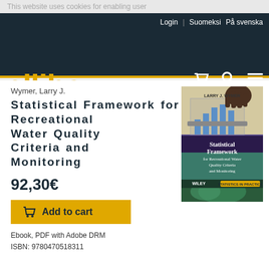This website uses cookies for enabling user
Login | Suomeksi På svenska
ellibs
Wymer, Larry J.
Statistical Framework for Recreational Water Quality Criteria and Monitoring
92,30€
Add to cart
[Figure (photo): Book cover of 'Statistical Framework for Recreational Water Quality Criteria and Monitoring' by Larry J. Wymer, published by Wiley, Statistics in Practice series. Cover shows a bar chart with test tubes and a hand, purple and teal design.]
Ebook, PDF with Adobe DRM
ISBN: 9780470518311